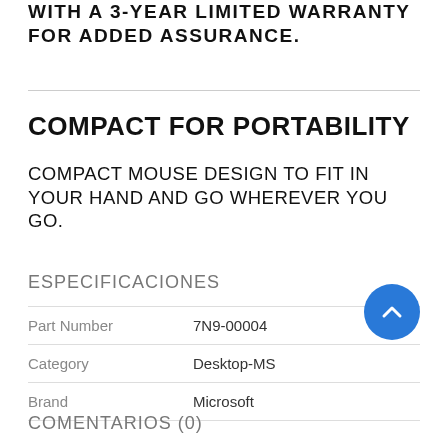WITH A 3-YEAR LIMITED WARRANTY FOR ADDED ASSURANCE.
COMPACT FOR PORTABILITY
COMPACT MOUSE DESIGN TO FIT IN YOUR HAND AND GO WHEREVER YOU GO.
ESPECIFICACIONES
|  |  |
| --- | --- |
| Part Number | 7N9-00004 |
| Category | Desktop-MS |
| Brand | Microsoft |
COMENTARIOS (0)